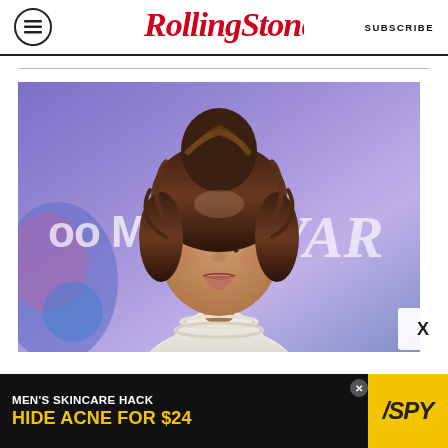Rolling Stone | SUBSCRIBE
[Figure (photo): Young woman with curly hair in an updo, wearing a white halter top and pearl necklaces, posing in front of a purple backdrop with Meta and Variety logos]
[Figure (other): Advertisement banner: MEN'S SKINCARE HACK — HIDE ACNE FOR $24, with SPY logo on yellow background]